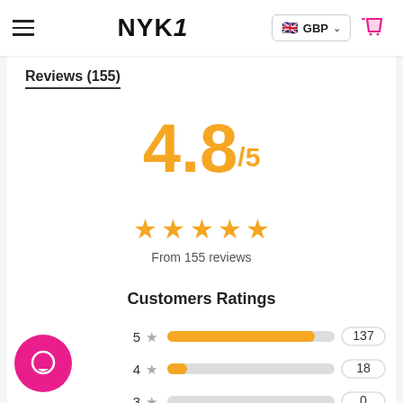NYK1  GBP
Reviews (155)
4.8/5
★★★★★
From 155 reviews
Customers Ratings
[Figure (bar-chart): Customers Ratings]